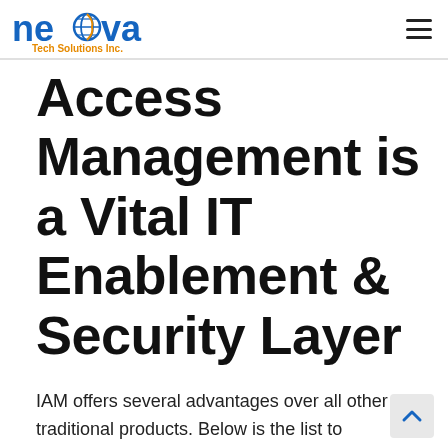neova Tech Solutions Inc.
Access Management is a Vital IT Enablement & Security Layer
IAM offers several advantages over all other traditional products. Below is the list to